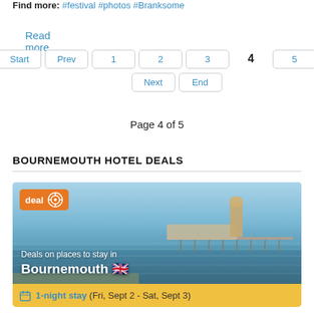Find more: #festival #photos #Branksome
Read more...
Start  Prev  1  2  3  4  5  Next  End
Page 4 of 5
BOURNEMOUTH HOTEL DEALS
[Figure (photo): Hotel deal card showing a coastal pier/seafront image of Bournemouth with a teal sky, featuring a 'deal' badge in orange and text overlay 'Deals on places to stay in Bournemouth' with a UK flag emoji]
1-night stay (Fri, Sept 2 - Sat, Sept 3)